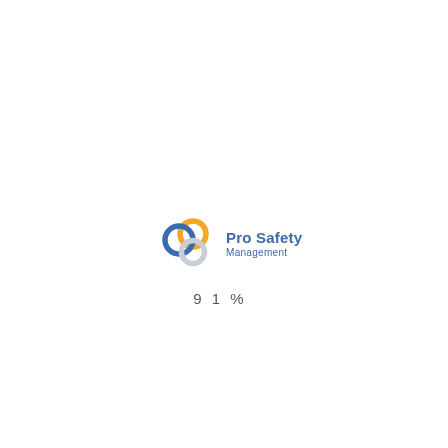[Figure (logo): Pro Safety Management logo with three interlocking rings (blue, orange, grey) and text 'Pro Safety Management']
91%